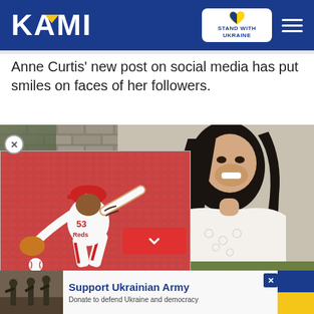KAMI | STAND WITH UKRAINE
Anne Curtis' new post on social media has put smiles on faces of her followers.
[Figure (photo): Photo of Anne Curtis smiling, wearing white eyelet top, with brick wall background. Overlapping ad image of a Cincinnati Reds baseball pitcher (number 53) in pitching motion, with red stadium seats in background.]
[Figure (photo): Bottom advertisement banner: Support Ukrainian Army — Donate to defend Ukraine and democracy, with image of soldiers and Ukrainian flag colors.]